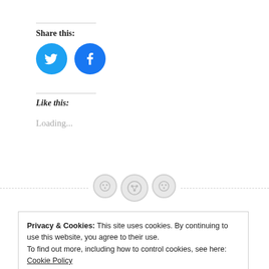Share this:
[Figure (illustration): Twitter and Facebook social share icon buttons — two blue circles with white bird/f logos]
Like this:
Loading...
[Figure (illustration): Dotted horizontal rule with three grey button/gear icons centered on it]
Privacy & Cookies: This site uses cookies. By continuing to use this website, you agree to their use. To find out more, including how to control cookies, see here: Cookie Policy
Close and accept